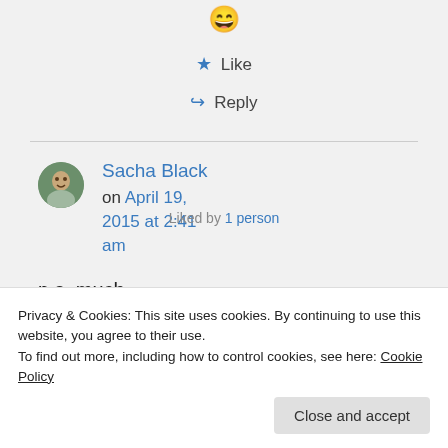[Figure (other): Grinning emoji 😄]
★ Like
↪ Reply
Sacha Black on April 19, 2015 at 2:41 am
p.s. much
Liked by 1 person
Privacy & Cookies: This site uses cookies. By continuing to use this website, you agree to their use.
To find out more, including how to control cookies, see here: Cookie Policy
Close and accept